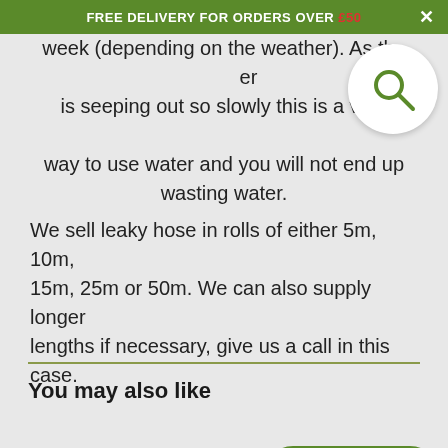FREE DELIVERY FOR ORDERS OVER £50
week (depending on the weather). As the water is seeping out so slowly this is a very efficient way to use water and you will not end up wasting water. We sell leaky hose in rolls of either 5m, 10m, 15m, 25m or 50m. We can also supply longer lengths if necessary, give us a call in this case.
You may also like
[Figure (other): Two product image placeholder boxes side by side, with a Woodlark Club Loyalty Points badge overlay on the right side]